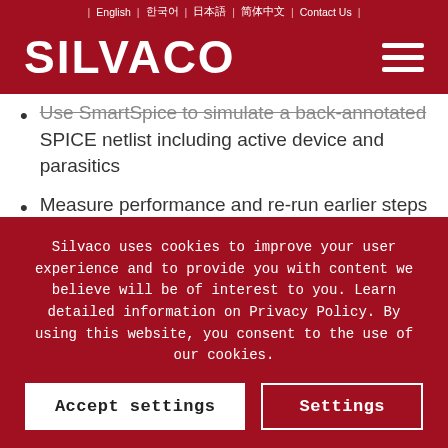English | 한국어 | 日本語 | 简体中文 | Contact Us
[Figure (logo): Silvaco logo in white on dark red background with hamburger menu icon]
Use SmartSpice to simulate a back-annotated SPICE netlist including active device and parasitics
Measure performance and re-run earlier steps until desired performance is achieved
|  |  |
|  |  |
Silvaco uses cookies to improve your user experience and to provide you with content we believe will be of interest to you. Learn detailed information on Privacy Policy. By using this website, you consent to the use of our cookies.
Accept settings | Settings